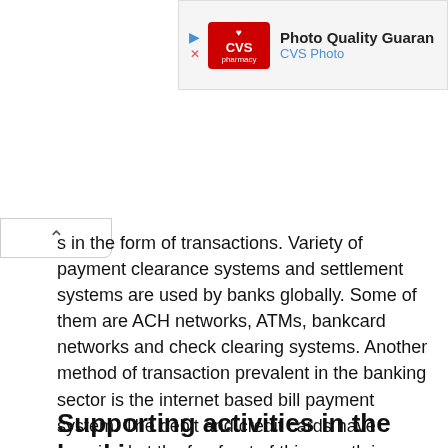[Figure (other): CVS Pharmacy advertisement banner showing 'Photo Quality Guaran...' and 'CVS Photo' with CVS logo and play/close icons]
s in the form of transactions. Variety of payment clearance systems and settlement systems are used by banks globally. Some of them are ACH networks, ATMs, bankcard networks and check clearing systems. Another method of transaction prevalent in the banking sector is the internet based bill payment system. The debit and credit cards have remained at the forefront of this growth in electronic payments. Banks also offer payment services for online businesses. However, apart from banks, other online payment solutions have also emerged led by Paypal. Digital technology has aided the proliferation of banking and payment solutions.
Supporting activities in the banking